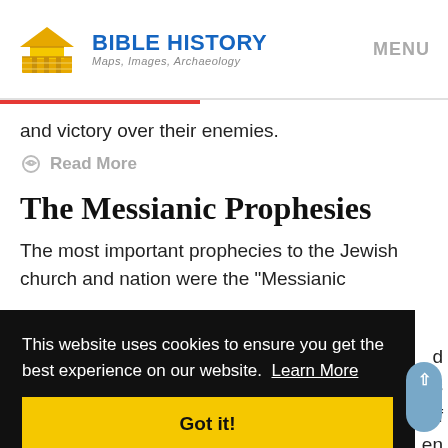BIBLE HISTORY Maps, Images, Archaeology | MENU
and victory over their enemies.
Read More
The Messianic Prophesies
The most important prophecies to the Jewish church and nation were the "Messianic
This website uses cookies to ensure you get the best experience on our website. Learn More
Got it!
hopes of final deliverance and future greatness